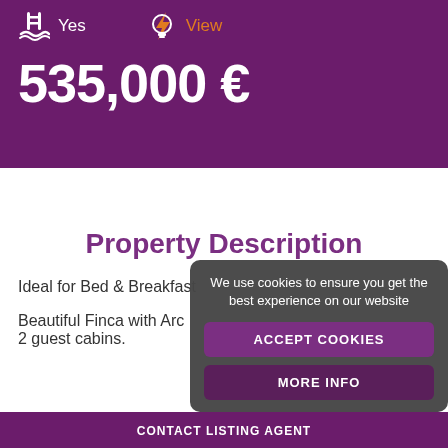[Figure (infographic): Pool icon with 'Yes' text and lightning/light bulb icon with 'View' text in orange, on purple background]
535,000 €
Property Description
Ideal for Bed & Breakfast
Beautiful Finca with Aro... 2 guest cabins.
CONTACT LISTING AGENT
We use cookies to ensure you get the best experience on our website
ACCEPT COOKIES
MORE INFO